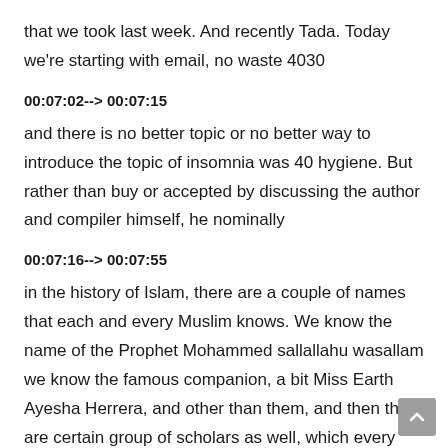that we took last week. And recently Tada. Today we're starting with email, no waste 4030
00:07:02--> 00:07:15
and there is no better topic or no better way to introduce the topic of insomnia was 40 hygiene. But rather than buy or accepted by discussing the author and compiler himself, he nominally
00:07:16--> 00:07:55
in the history of Islam, there are a couple of names that each and every Muslim knows. We know the name of the Prophet Mohammed sallallahu wasallam we know the famous companion, a bit Miss Earth Ayesha Herrera, and other than them, and then there are certain group of scholars as well, which every household will know. Every household would have heard of Imam Alghazali. Every